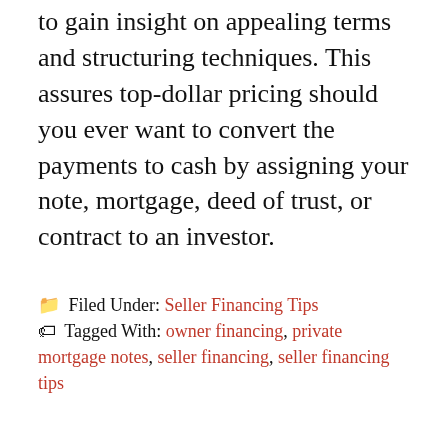to gain insight on appealing terms and structuring techniques. This assures top-dollar pricing should you ever want to convert the payments to cash by assigning your note, mortgage, deed of trust, or contract to an investor.
Filed Under: Seller Financing Tips
Tagged With: owner financing, private mortgage notes, seller financing, seller financing tips